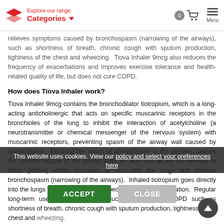Explore our range Categories
relieves symptoms caused by bronchospasm (narrowing of the airways), such as shortness of breath, chronic cough with sputum production, tightness of the chest and wheezing. Tiova Inhaler 9mcg also reduces the frequency of exacerbations and improves exercise tolerance and health-related quality of life, but does not cure COPD.
How does Tiova Inhaler work?
Tiova Inhaler 9mcg contains the bronchodilator tiotropium, which is a long-acting anticholinergic that acts on specific muscarinic receptors in the bronchioles of the lung to inhibit the interaction of acetylcholine (a neurotransmitter or chemical messenger of the nervous system) with muscarinic receptors, preventing spasm of the airway wall caused by acetylcholine. Blocking the action of acetylcholine in the airways, causes the smooth muscle in the airway walls to relax and allows the airways to dilate (widen) which increases air flow into the lungs and relieves bronchospasm (narrowing of the airways). Inhaled tiotropium goes directly into the lungs and very little is absorbed into the blood circulation. Regular long-term use of Tiova helps reduce symptoms of COPD such as shortness of breath, chronic cough with sputum production, tightness of the chest and wheezing.
What does Tiova Inhaler contain?
Tiova Inhaler 9 ... the ... dient tiotropium bromide monohydrate, a long-acting bronchodilator used to treat chronic obstructive pulmonary disease (COPD). It also contains